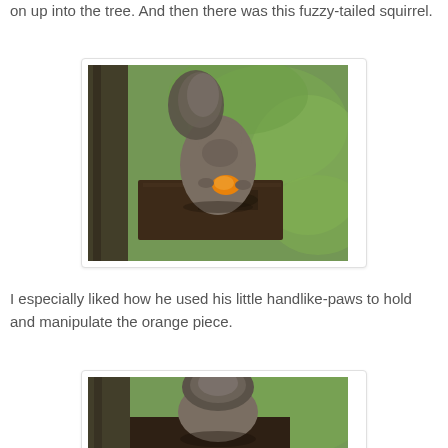on up into the tree. And then there was this fuzzy-tailed squirrel.
[Figure (photo): A gray squirrel sitting on a dark wooden platform, holding and eating a piece of orange fruit, with green foliage in the background.]
I especially liked how he used his little handlike-paws to hold and manipulate the orange piece.
[Figure (photo): A gray squirrel photographed from above/behind showing its fluffy tail, on a dark wooden surface with green foliage and a tree trunk in the background.]